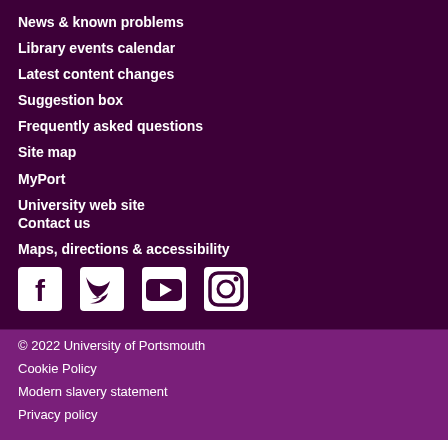News & known problems
Library events calendar
Latest content changes
Suggestion box
Frequently asked questions
Site map
MyPort
University web site
Contact us
Maps, directions & accessibility
[Figure (illustration): Social media icons: Facebook, Twitter, YouTube, Instagram]
© 2022 University of Portsmouth
Cookie Policy
Modern slavery statement
Privacy policy